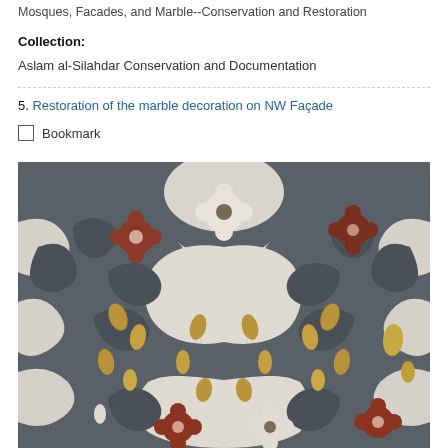Mosques, Facades, and Marble--Conservation and Restoration
Collection: Aslam al-Silahdar Conservation and Documentation
5. Restoration of the marble decoration on NW Façade
Bookmark
[Figure (photo): Close-up photograph of ornate marble inlay decoration showing geometric and floral patterns in dark grey, white, red-brown, and amber colors on what appears to be a mosque facade]